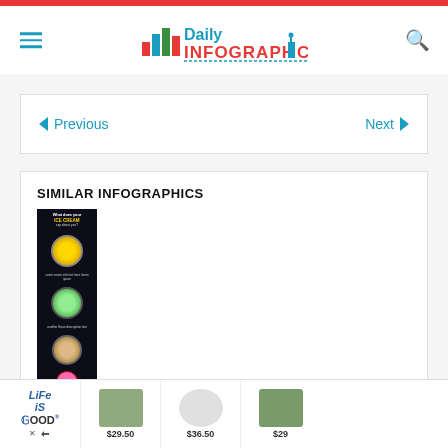Daily Infographic
← Previous    Next →
SIMILAR INFOGRAPHICS
[Figure (infographic): Thumbnail of an infographic with dark background showing circular graphics and text]
Life Is Good advertisement - $29.50, $36.50, $29